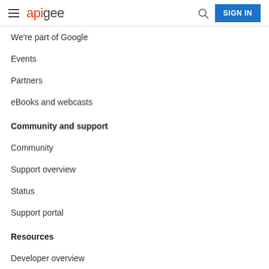apigee — SIGN IN
We're part of Google
Events
Partners
eBooks and webcasts
Community and support
Community
Support overview
Status
Support portal
Resources
Developer overview
4-minute videos for developers